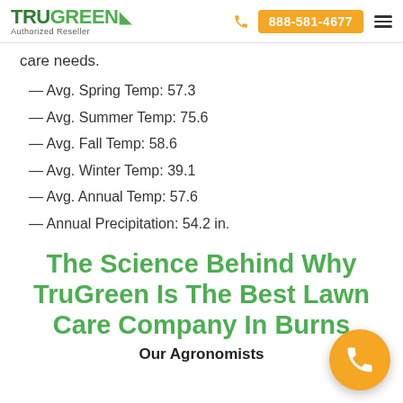TruGreen Authorized Reseller | 888-581-4677
care needs.
— Avg. Spring Temp: 57.3
— Avg. Summer Temp: 75.6
— Avg. Fall Temp: 58.6
— Avg. Winter Temp: 39.1
— Avg. Annual Temp: 57.6
— Annual Precipitation: 54.2 in.
The Science Behind Why TruGreen Is The Best Lawn Care Company In Burns
Our Agronomists